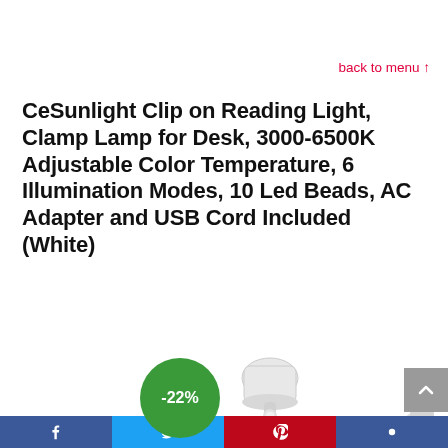back to menu ↑
CeSunlight Clip on Reading Light, Clamp Lamp for Desk, 3000-6500K Adjustable Color Temperature, 6 Illumination Modes, 10 Led Beads, AC Adapter and USB Cord Included (White)
[Figure (photo): White clip-on reading lamp with flexible gooseneck arm and round head, shown against white background. A green circular badge showing -22% discount is overlaid on the left side of the image.]